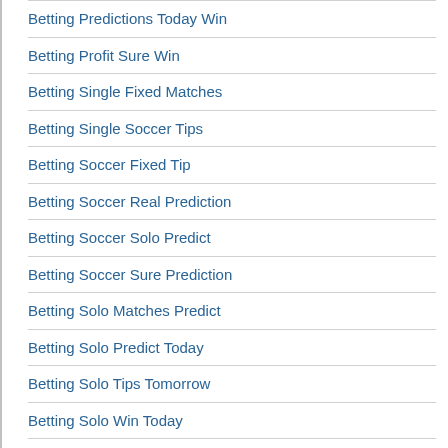Betting Predictions Today Win
Betting Profit Sure Win
Betting Single Fixed Matches
Betting Single Soccer Tips
Betting Soccer Fixed Tip
Betting Soccer Real Prediction
Betting Soccer Solo Predict
Betting Soccer Sure Prediction
Betting Solo Matches Predict
Betting Solo Predict Today
Betting Solo Tips Tomorrow
Betting Solo Win Today
Betting Sure Banker Tips
Betting Sure Fixed Games
Betting Sure Predict Match